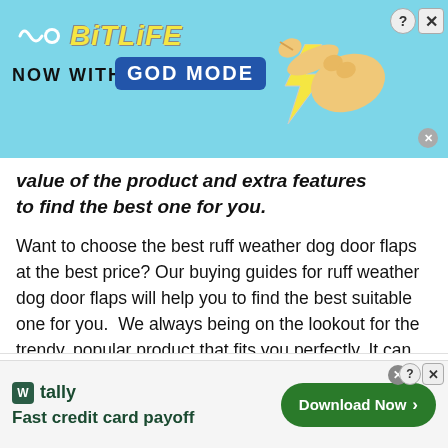[Figure (screenshot): BitLife app advertisement banner with cyan background, BitLife logo in yellow italic text, 'NOW WITH GOD MODE' text with blue box, lightning bolt, and cartoon hand pointing right. Close/help buttons at top right.]
value of the product and extra features to find the best one for you.
Want to choose the best ruff weather dog door flaps at the best price? Our buying guides for ruff weather dog door flaps will help you to find the best suitable one for you.  We always being on the lookout for the trendy, popular product that fits you perfectly. It can quickly cost you time and
[Figure (screenshot): Tally app advertisement banner with 'Fast credit card payoff' tagline and 'Download Now' green button with arrow. Close/help buttons at top right.]